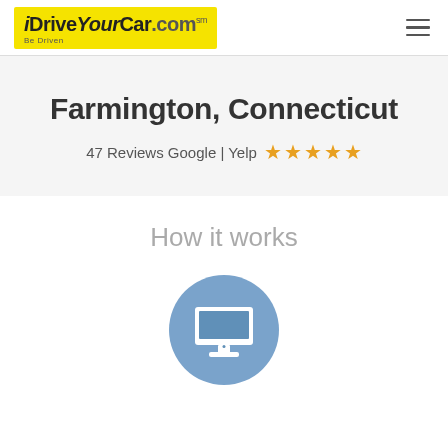iDriveYourCar.com — Be Driven
Farmington, Connecticut
47 Reviews Google | Yelp ★★★★★
How it works
[Figure (illustration): Blue circle icon with a white desktop computer monitor symbol]